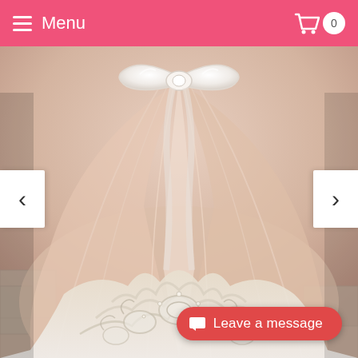Menu | Cart 0
[Figure (photo): A flower girl or wedding dress with a large white satin bow at the back, voluminous tulle skirt in blush/champagne color, and intricate white lace appliqué at the hem, displayed on a tiled floor. Navigation arrows on left and right sides of the image.]
Leave a message